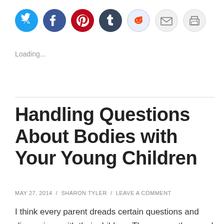[Figure (other): Row of social media sharing icon buttons: Twitter (blue), Facebook (blue), Pinterest (red), Tumblr (dark teal), Reddit (light), Email (gray), Print (gray) — circular icon buttons]
Loading...
Handling Questions About Bodies with Your Young Children
MAY 27, 2014  /  SHARON TYLER  /  LEAVE A COMMENT
I think every parent dreads certain questions and discussions with their children. There are a thousand